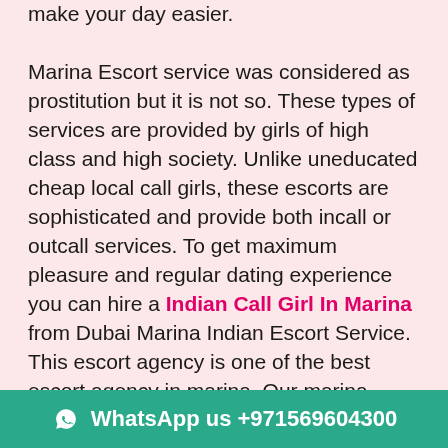make your day easier.

Marina Escort service was considered as prostitution but it is not so. These types of services are provided by girls of high class and high society. Unlike uneducated cheap local call girls, these escorts are sophisticated and provide both incall or outcall services. To get maximum pleasure and regular dating experience you can hire a Indian Call Girl In Marina from Dubai Marina Indian Escort Service. This escort agency is one of the best escort agency in marina. Our marina escorts girls can provide female companionship at night when you are alone. To book escorts from marina escort agency you must speak with our escort service manager now. Sometimes we feel that our life has become boring. It can be because of regular work or physical tiredness. In case you also feel the same then it is the correct time for you to get Escort Services In Marina. Marina girls who work with us are very friendly and cooperative. Our marina escorts will give you a girlfriend like an experience.
WhatsApp us +971569604300